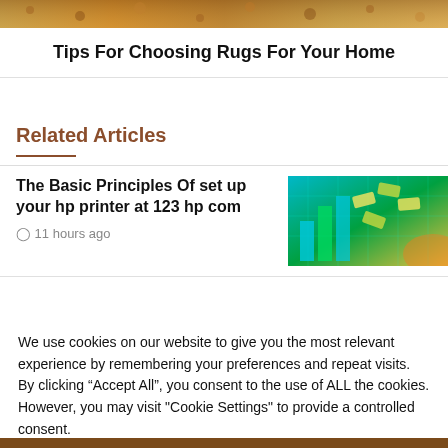[Figure (photo): Decorative rug texture image at top of page]
Tips For Choosing Rugs For Your Home
Related Articles
The Basic Principles Of set up your hp printer at 123 hp com
11 hours ago
[Figure (photo): Digital finance concept image with money and charts on green background]
We use cookies on our website to give you the most relevant experience by remembering your preferences and repeat visits. By clicking “Accept All”, you consent to the use of ALL the cookies. However, you may visit "Cookie Settings" to provide a controlled consent.